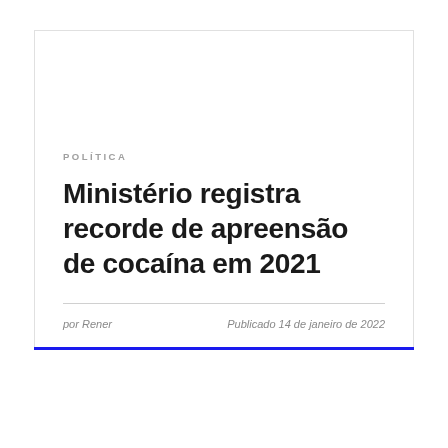POLÍTICA
Ministério registra recorde de apreensão de cocaína em 2021
por Rener
Publicado 14 de janeiro de 2022